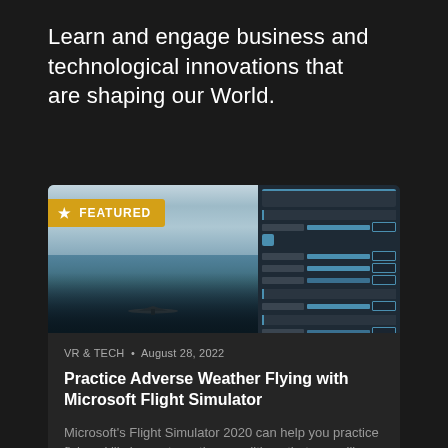Learn and engage business and technological innovations that are shaping our World.
[Figure (screenshot): Featured article card image showing Microsoft Flight Simulator screenshot split into two panels: left panel shows aerial view of landscape from cockpit perspective with cloudy sky and aircraft wing visible, right panel shows the simulator's weather settings UI panel with sliders and blue UI elements. A gold 'FEATURED' badge with a star icon overlays the top-left of the image.]
VR & TECH • August 28, 2022
Practice Adverse Weather Flying with Microsoft Flight Simulator
Microsoft's Flight Simulator 2020 can help you practice flying skills in most weather conditions that you will encounter as a General Aviation...